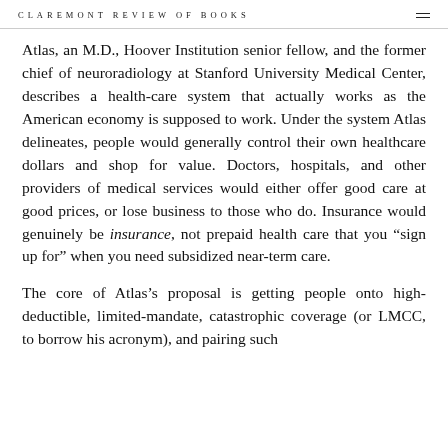CLAREMONT REVIEW OF BOOKS
Atlas, an M.D., Hoover Institution senior fellow, and the former chief of neuroradiology at Stanford University Medical Center, describes a health-care system that actually works as the American economy is supposed to work. Under the system Atlas delineates, people would generally control their own healthcare dollars and shop for value. Doctors, hospitals, and other providers of medical services would either offer good care at good prices, or lose business to those who do. Insurance would genuinely be insurance, not prepaid health care that you “sign up for” when you need subsidized near-term care.
The core of Atlas’s proposal is getting people onto high-deductible, limited-mandate, catastrophic coverage (or LMCC, to borrow his acronym), and pairing such